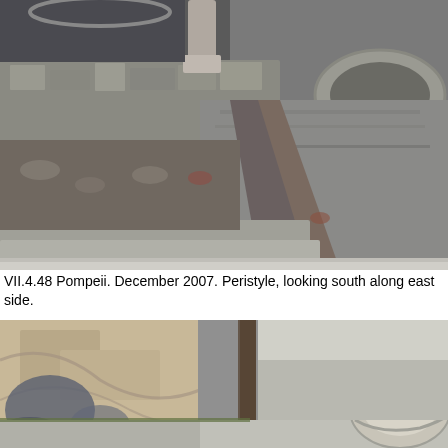[Figure (photo): Photograph of the peristyle at VII.4.48 Pompeii, looking south along the east side. Shows a low stone wall with a column base, a large circular stone basin on the right, and a stone-paved walkway. December 2007.]
VII.4.48 Pompeii. December 2007. Peristyle, looking south along east side.
[Figure (photo): Second photograph of VII.4.48 Pompeii showing interior space with marble or stone wall surfaces, a doorway or passage with a dark wooden post, and a large stone or marble basin on the right side.]